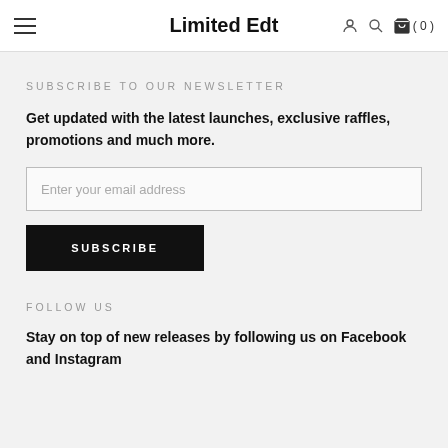Limited Edt — navigation with hamburger menu, user icon, search icon, cart (0)
SUBSCRIBE TO OUR NEWSLETTER
Get updated with the latest launches, exclusive raffles, promotions and much more.
Enter your email address
SUBSCRIBE
FOLLOW US
Stay on top of new releases by following us on Facebook and Instagram